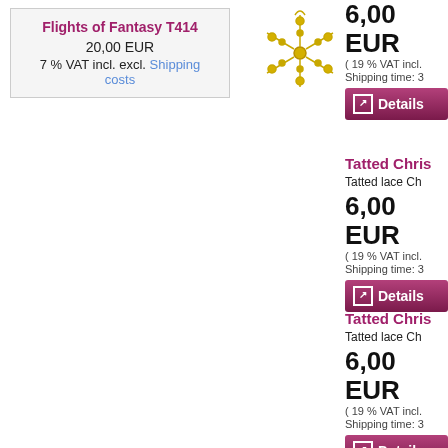Flights of Fantasy T414
20,00 EUR
7 % VAT incl. excl. Shipping costs
[Figure (photo): Gold tatted lace ornament/snowflake in gold metallic thread]
6,00 EUR
( 19 % VAT incl.
Shipping time: 3
Details
Tatted Chris
Tatted lace Ch
6,00 EUR
( 19 % VAT incl.
Shipping time: 3
Details
Tatted Chris
Tatted lace Ch
6,00 EUR
( 19 % VAT incl.
Shipping time: 3
Details